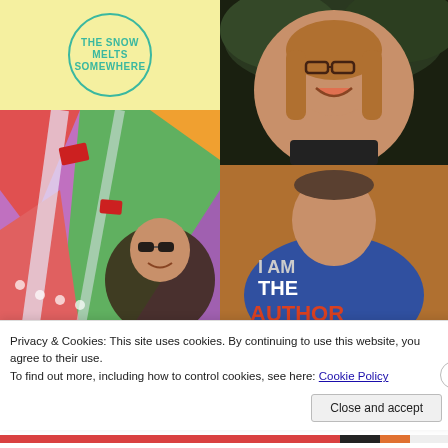[Figure (photo): Yellow background with teal circle logo reading 'THE SNOW MELTS SOMEWHERE']
[Figure (photo): Smiling woman with glasses and long brown hair against dark background]
[Figure (photo): Person wearing sunglasses in front of colorful abstract art mural]
[Figure (photo): Person in blue t-shirt reading 'I AM THE AUTHOR' in white and orange text]
Privacy & Cookies: This site uses cookies. By continuing to use this website, you agree to their use.
To find out more, including how to control cookies, see here: Cookie Policy
Close and accept